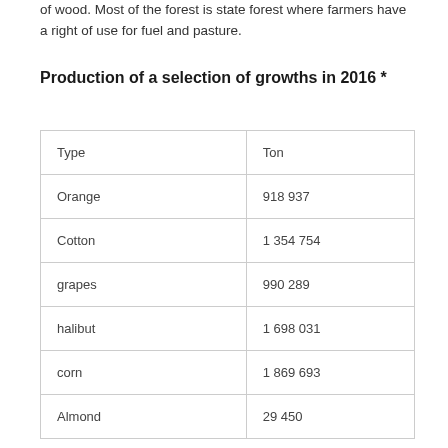of wood. Most of the forest is state forest where farmers have a right of use for fuel and pasture.
Production of a selection of growths in 2016 *
| Type | Ton |
| --- | --- |
| Orange | 918 937 |
| Cotton | 1 354 754 |
| grapes | 990 289 |
| halibut | 1 698 031 |
| corn | 1 869 693 |
| Almond | 29 450 |